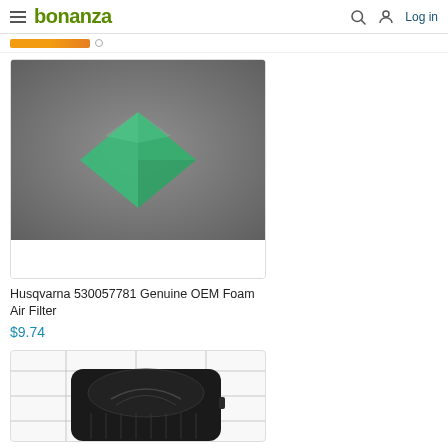bonanza — Log in
[Figure (photo): Product photo of a green foam diamond-shaped air filter on a gray background]
Husqvarna 530057781 Genuine OEM Foam Air Filter
$9.74
[Figure (photo): Product photo of a black air filter/cover component on a white gridded background (partial view)]